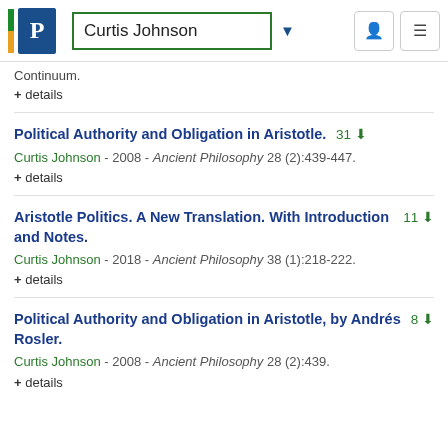Curtis Johnson
Continuum.
+ details
Political Authority and Obligation in Aristotle.
Curtis Johnson - 2008 - Ancient Philosophy 28 (2):439-447.
+ details
Aristotle Politics. A New Translation. With Introduction and Notes.
Curtis Johnson - 2018 - Ancient Philosophy 38 (1):218-222.
+ details
Political Authority and Obligation in Aristotle, by Andrés Rosler.
Curtis Johnson - 2008 - Ancient Philosophy 28 (2):439.
+ details